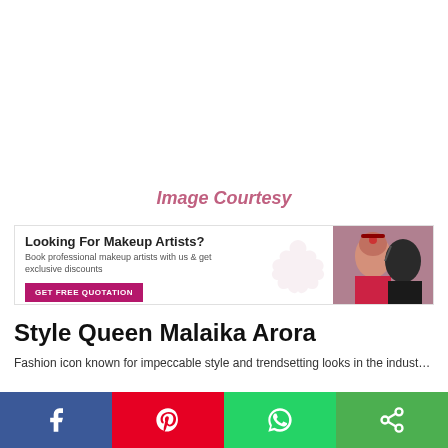Image Courtesy
[Figure (photo): Advertisement banner for makeup artists booking service with photo of bride getting makeup done]
Style Queen Malaika Arora
Body text preview about Malaika Arora style
Social share bar with Facebook, Pinterest, WhatsApp, and share icons